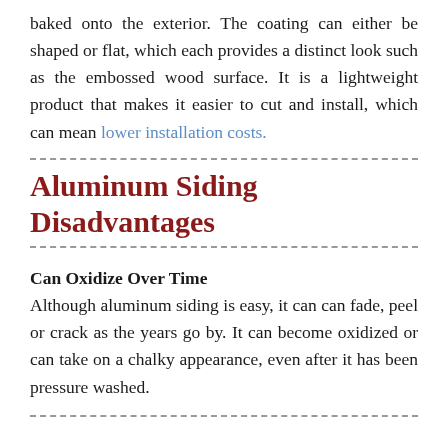baked onto the exterior. The coating can either be shaped or flat, which each provides a distinct look such as the embossed wood surface. It is a lightweight product that makes it easier to cut and install, which can mean lower installation costs.
Aluminum Siding Disadvantages
Can Oxidize Over Time
Although aluminum siding is easy, it can can fade, peel or crack as the years go by. It can become oxidized or can take on a chalky appearance, even after it has been pressure washed.